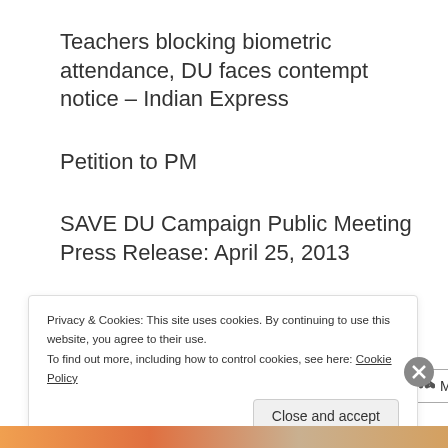Teachers blocking biometric attendance, DU faces contempt notice – Indian Express
Petition to PM
SAVE DU Campaign Public Meeting Press Release: April 25, 2013
Share this:
Privacy & Cookies: This site uses cookies. By continuing to use this website, you agree to their use.
To find out more, including how to control cookies, see here: Cookie Policy
Close and accept